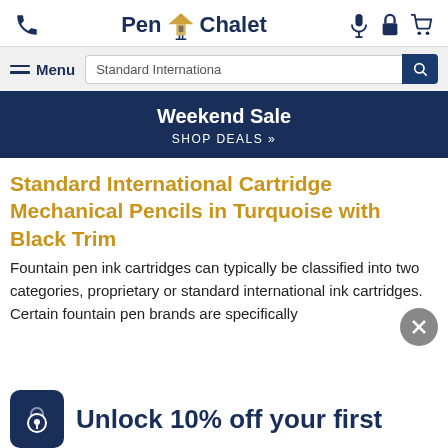Pen Chalet
[Figure (screenshot): Navigation bar with Menu button and search input showing 'Standard Internationa']
[Figure (infographic): Dark navy promotional banner: Weekend Sale - SHOP DEALS »]
Standard International Cartridge Mechanical Pencils in Turquoise with Black Trim
Fountain pen ink cartridges can typically be classified into two categories, proprietary or standard international ink cartridges. Certain fountain pen brands are specifically
Unlock 10% off your first